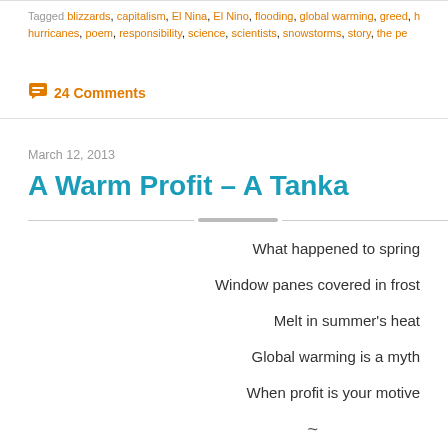Tagged blizzards, capitalism, El Nina, El Nino, flooding, global warming, greed, h hurricanes, poem, responsibility, science, scientists, snowstorms, story, the pe
24 Comments
March 12, 2013
A Warm Profit – A Tanka
What happened to spring
Window panes covered in frost
Melt in summer's heat
Global warming is a myth
When profit is your motive